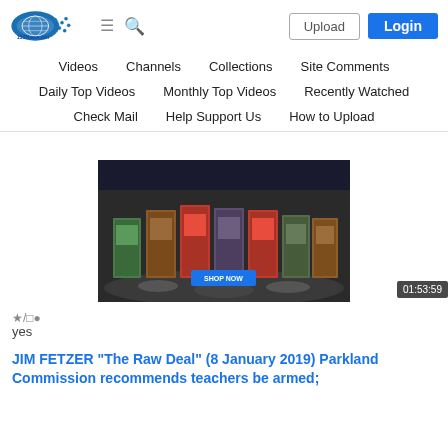[Figure (logo): 153News.net logo — blue oval with globe/net graphic and text]
Videos  Channels  Collections  Site Comments  Daily Top Videos  Monthly Top Videos  Recently Watched  Check Mail  Help Support Us  How to Upload
[Figure (screenshot): Video thumbnail showing a row of books standing on a lunar/rocky surface with a blue 'SHOP NOW' button overlay]
yes
JIM FETZER "The Raw Deal" (8 January 2019) Parkland Commission recommends teachers be armed;